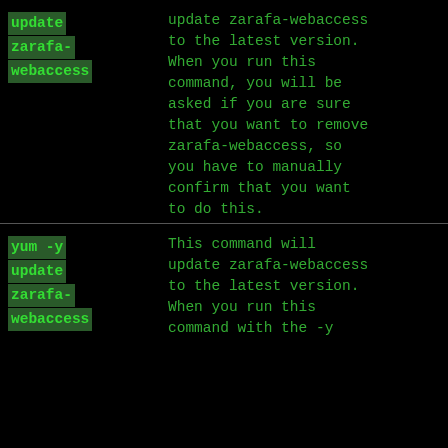update zarafa-webaccess | update zarafa-webaccess to the latest version. When you run this command, you will be asked if you are sure that you want to remove zarafa-webaccess, so you have to manually confirm that you want to do this.
yum -y update zarafa-webaccess | This command will update zarafa-webaccess to the latest version. When you run this command with the -y